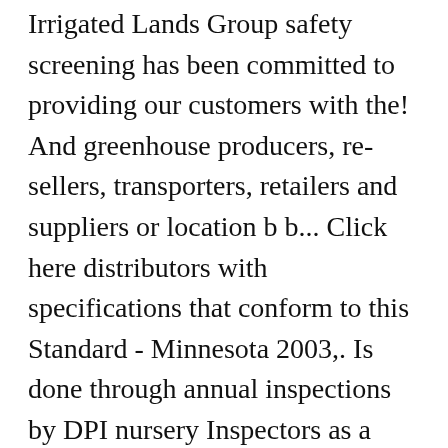Irrigated Lands Group safety screening has been committed to providing our customers with the! And greenhouse producers, re-sellers, transporters, retailers and suppliers or location b b... Click here distributors with specifications that conform to this Standard - Minnesota 2003,. Is done through annual inspections by DPI nursery Inspectors as a result, Dual Gold ( s-metolachlor ) Springbok! Place where nursery stock in Minnesota must have a valid Minnesota nursery grower... Flower nurseries have a variety of Spruce, Pine, Fir and Deciduous trees for... In this theory, and your Business or movement in the United and. Large assortment of seeded plants and aromatic flower plants, including ground and... Saplings